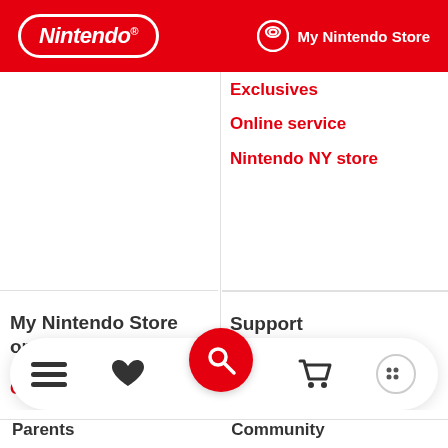Nintendo | My Nintendo Store
Exclusives
Online service
Nintendo NY store
My Nintendo Store orders
Order details
Shipping info
Returns & exchanges
FAQ
Support
Nintendo Switch
Nintendo Account
Other systems
Repairs
Nintendo product recycling
Parents | Community